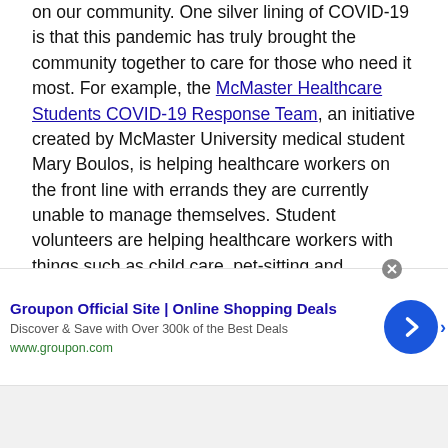on our community. One silver lining of COVID-19 is that this pandemic has truly brought the community together to care for those who need it most. For example, the McMaster Healthcare Students COVID-19 Response Team, an initiative created by McMaster University medical student Mary Boulos, is helping healthcare workers on the front line with errands they are currently unable to manage themselves. Student volunteers are helping healthcare workers with things such as child care, pet-sitting and groceries, among other things. Because of this initiative, healthcare workers such as nurses, doctors and hospital staff can focus on providing care to COVID-19 patients and not have to worry about taking care of their family and potentially infecting them.

Initiatives like these are not something people would usually dream of in a normal setting. When else would someone babysit
[Figure (other): Advertisement banner for Groupon Official Site with title 'Groupon Official Site | Online Shopping Deals', subtitle 'Discover & Save with Over 300k of the Best Deals', URL 'www.groupon.com', a close button, and a blue arrow navigation button.]